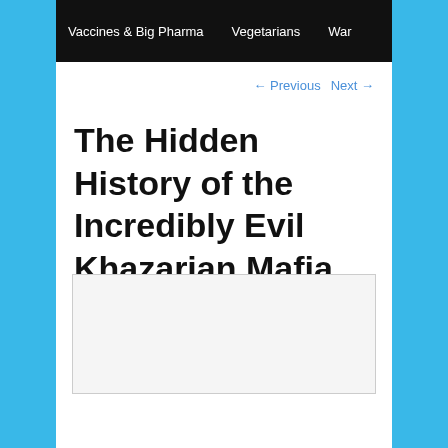Vaccines & Big Pharma   Vegetarians   War
← Previous   Next →
The Hidden History of the Incredibly Evil Khazarian Mafia
Posted on February 17, 2016
[Figure (other): Embedded content or image placeholder (white/light gray box)]